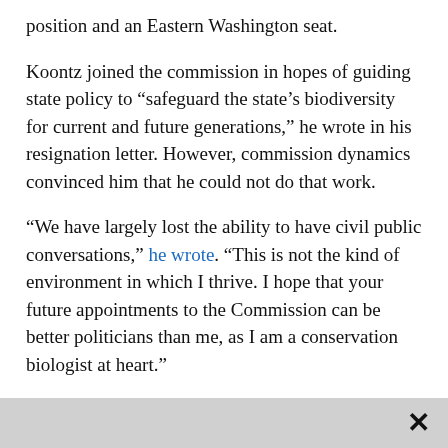position and an Eastern Washington seat.
Koontz joined the commission in hopes of guiding state policy to “safeguard the state’s biodiversity for current and future generations,” he wrote in his resignation letter. However, commission dynamics convinced him that he could not do that work.
“We have largely lost the ability to have civil public conversations,” he wrote. “This is not the kind of environment in which I thrive. I hope that your future appointments to the Commission can be better politicians than me, as I am a conservation biologist at heart.”
Koontz declined to comment, instead sharing a copy of his resignation letter.
Marie Neumiller, the executive director of the Inland